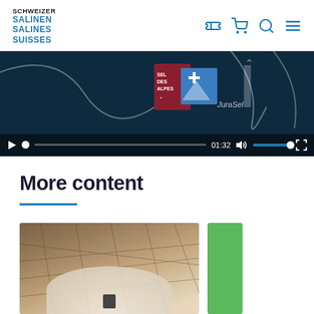[Figure (logo): Schweizer Salinen / Salines Suisses logo in blue and black text]
[Figure (screenshot): Video player showing product video with timestamp 01:32, dark blue background with white curved lines, salt product packaging visible]
More content
[Figure (photo): Partial view of a salt storage dome interior with geodesic structure and white salt mound, and a partial green-colored image to the right]